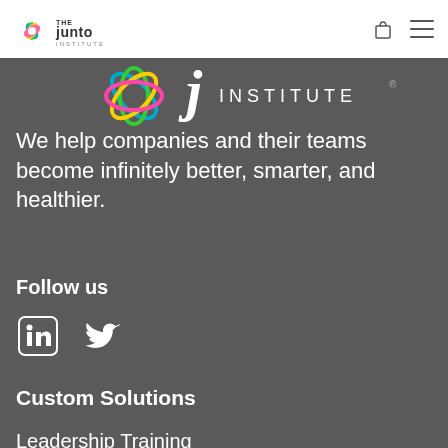The Junto Institute
[Figure (logo): The Junto Institute logo — colorful lotus/leaf icon and J INSTITUTE text on dark background]
We help companies and their teams become infinitely better, smarter, and healthier.
Follow us
[Figure (infographic): LinkedIn and Twitter social media icons]
Custom Solutions
Leadership Training
Mentor Teams